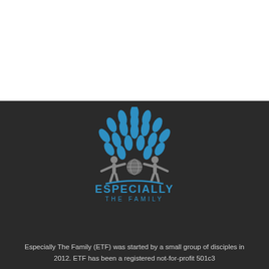[Figure (logo): Especially The Family logo: a tree made of blue leaf shapes above two grey human figures flanking a globe, with blue arc below and text 'ESPECIALLY THE FAMILY']
Especially The Family (ETF) was started by a small group of disciples in 2012. ETF has been a registered not-for-profit 501c3